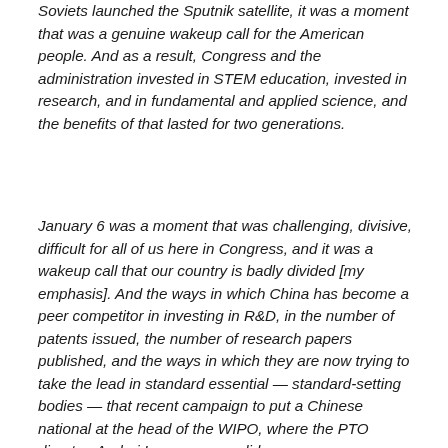Soviets launched the Sputnik satellite, it was a moment that was a genuine wakeup call for the American people. And as a result, Congress and the administration invested in STEM education, invested in research, and in fundamental and applied science, and the benefits of that lasted for two generations.
January 6 was a moment that was challenging, divisive, difficult for all of us here in Congress, and it was a wakeup call that our country is badly divided [my emphasis]. And the ways in which China has become a peer competitor in investing in R&D, in the number of patents issued, the number of research papers published, and the ways in which they are now trying to take the lead in standard essential — standard-setting bodies — that recent campaign to put a Chinese national at the head of the WIPO, where the PTO director, Andrei Iancu, was — did